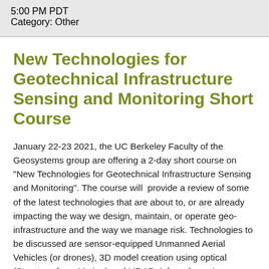5:00 PM PDT
Category: Other
New Technologies for Geotechnical Infrastructure Sensing and Monitoring Short Course
January 22-23 2021, the UC Berkeley Faculty of the Geosystems group are offering a 2-day short course on "New Technologies for Geotechnical Infrastructure Sensing and Monitoring". The course will  provide a review of some of the latest technologies that are about to, or are already impacting the way we design, maintain, or operate geo-infrastructure and the way we manage risk. Technologies to be discussed are sensor-equipped Unmanned Aerial Vehicles (or drones), 3D model creation using optical (Structure-from-Motion) and LiDAR, infrared sensing, Synthetic Aperture Radar (SAR), wireless sensing fundamentals, ShapeArray Accelerometers